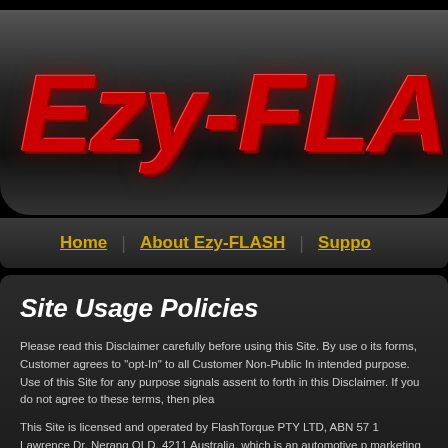[Figure (logo): Ezy-FLASH logo in large red italic bold text on dark gradient panel]
Home | About Ezy-FLASH | Suppo...
Site Usage Policies
Please read this Disclaimer carefully before using this Site. By use o its forms, Customer agrees to "opt-In" to all Customer Non-Public In intended purpose. Use of this Site for any purpose signals assent to forth in this Disclaimer. If you do not agree to these terms, then plea
This Site is licensed and operated by FlashTorque PTY LTD, ABN 57 1 Lawrence Dr, Nerang QLD, 4211 Australia, which is an automotive p marketing entity consisting of the design, research and testing, par content represented in this Site and its subsidiary Sites. The informa provided "as is". No warranty is expressed or implied to the fullest e applicable law. FlashTorque PTY LTD and any of its providers of infor